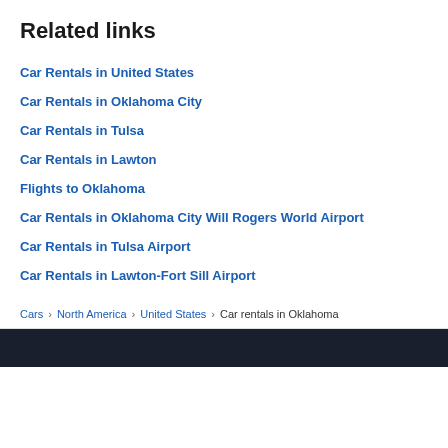Related links
Car Rentals in United States
Car Rentals in Oklahoma City
Car Rentals in Tulsa
Car Rentals in Lawton
Flights to Oklahoma
Car Rentals in Oklahoma City Will Rogers World Airport
Car Rentals in Tulsa Airport
Car Rentals in Lawton-Fort Sill Airport
Cars > North America > United States > Car rentals in Oklahoma